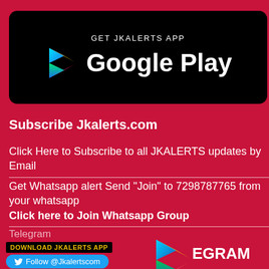[Figure (logo): GET JKALERTS APP Google Play Store button with Play Store logo on black rounded rectangle background]
Subscribe Jkalerts.com
Click Here to Subscribe to all JKALERTS updates by Email
Get Whatsapp alert Send "Join" to 7298787765 from your whatsapp
Click here to Join Whatsapp Group
Telegram
[Figure (logo): DOWNLOAD JKALERTS APP banner with Telegram play logo and EGRAM text]
[Figure (screenshot): Twitter Follow @Jkalertscom button in blue]